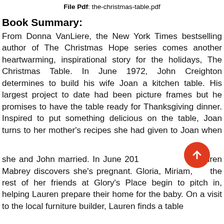File Pdf: the-christmas-table.pdf
Book Summary:
From Donna VanLiere, the New York Times bestselling author of The Christmas Hope series comes another heartwarming, inspirational story for the holidays, The Christmas Table. In June 1972, John Creighton determines to build his wife Joan a kitchen table. His largest project to date had been picture frames but he promises to have the table ready for Thanksgiving dinner. Inspired to put something delicious on the table, Joan turns to her mother's recipes she had given to Joan when she and John married. In June 2013, Lauren Mabrey discovers she's pregnant. Gloria, Miriam, and the rest of her friends at Glory's Place begin to pitch in, helping Lauren prepare their home for the baby. On a visit to the local furniture builder, Lauren finds a table